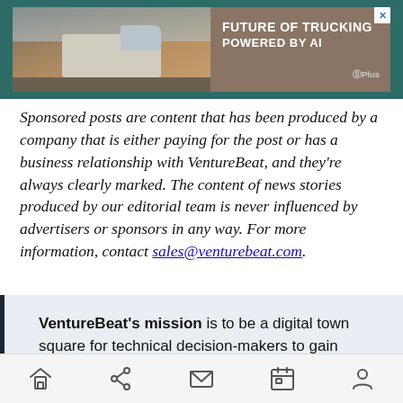[Figure (screenshot): Advertisement banner for 'Future of Trucking Powered by AI' with truck image and GPlus logo, on dark teal background]
Sponsored posts are content that has been produced by a company that is either paying for the post or has a business relationship with VentureBeat, and they're always clearly marked. The content of news stories produced by our editorial team is never influenced by advertisers or sponsors in any way. For more information, contact sales@venturebeat.com.
VentureBeat's mission is to be a digital town square for technical decision-makers to gain knowledge about transformative enterprise technology and transact. Discover our Briefings.
[Figure (screenshot): Mobile navigation bar with home, share, mail, calendar, and person icons]